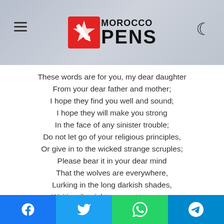[Figure (logo): Morocco Pens website header with logo, hamburger menu icon, and moon/dark mode icon]
These words are for you, my dear daughter
From your dear father and mother;
I hope they find you well and sound;
I hope they will make you strong
In the face of any sinister trouble;
Do not let go of your religious principles,
Or give in to the wicked strange scruples;
Please bear it in your dear mind
That the wolves are everywhere,
Lurking in the long darkish shades,
Waiting the right moment to swoop;
Keep in your cherished mind that
[Figure (other): Social share bar with Facebook, Twitter, WhatsApp, and Telegram buttons]